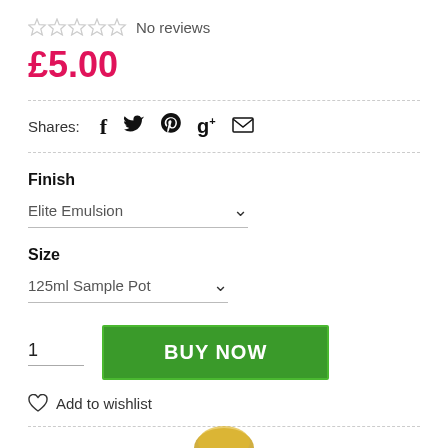No reviews
£5.00
Shares: (social icons: Facebook, Twitter, Pinterest, Google+, Email)
Finish
Elite Emulsion
Size
125ml Sample Pot
1
BUY NOW
Add to wishlist